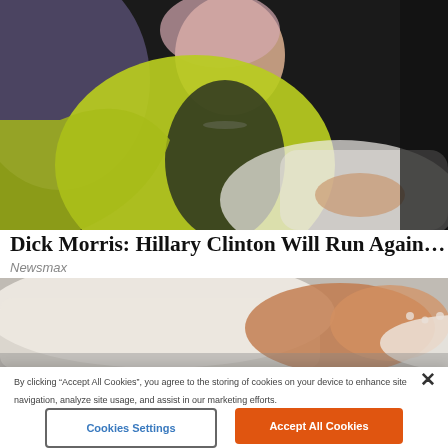[Figure (photo): Woman in yellow-green blazer over black top seated in white chair, photographed from above/side against dark background]
Dick Morris: Hillary Clinton Will Run Against Trump Again
Newsmax
[Figure (photo): Close-up of white chair arm or shoe/foot area with brown and white tones]
By clicking “Accept All Cookies”, you agree to the storing of cookies on your device to enhance site navigation, analyze site usage, and assist in our marketing efforts.
Cookies Settings
Accept All Cookies